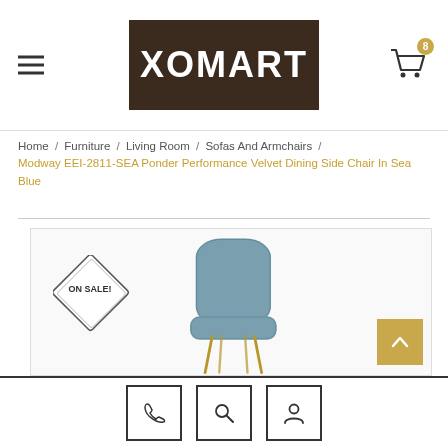[Figure (logo): XOMART logo in white text on dark brown background]
Home / Furniture / Living Room / Sofas And Armchairs /
Modway EEI-2811-SEA Ponder Performance Velvet Dining Side Chair In Sea Blue
[Figure (photo): Sea blue velvet dining chair with gold legs, shown from the back, with ON SALE! diamond badge overlay]
Phone, Search, and Account icon buttons in the footer bar